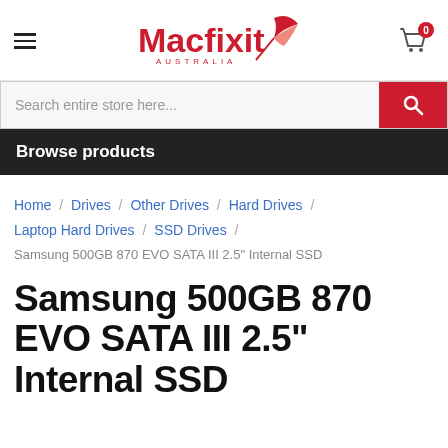[Figure (logo): Macfixit Australia logo with red text and stylized bird/swoosh graphic]
Search entire store here...
Browse products
Home / Drives / Other Drives / Hard Drives / Laptop Hard Drives / SSD Drives / Samsung 500GB 870 EVO SATA III 2.5" Internal SSD
Samsung 500GB 870 EVO SATA III 2.5" Internal SSD